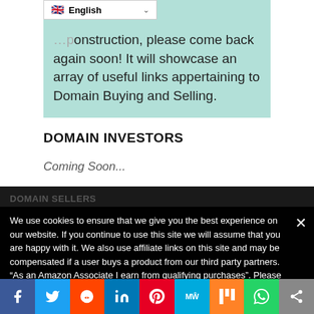[Figure (screenshot): Language selector dropdown showing UK flag and 'English' text with a chevron]
...page is under construction, please come back again soon! It will showcase an array of useful links appertaining to Domain Buying and Selling.
DOMAIN INVESTORS
Coming Soon...
DOMAIN SELLERS
We use cookies to ensure that we give you the best experience on our website. If you continue to use this site we will assume that you are happy with it. We also use affiliate links on this site and may be compensated if a user buys a product from our third party partners. "As an Amazon Associate I earn from qualifying purchases". Please check our privacy policy for more information.
Coming Soon...
[Figure (other): Social sharing bar with icons for Facebook, Twitter, Reddit, LinkedIn, Pinterest, MeWe, Mix, WhatsApp, and share button]